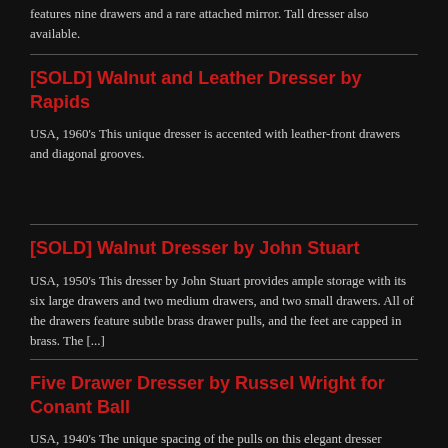features nine drawers and a rare attached mirror. Tall dresser also available.
[SOLD] Walnut and Leather Dresser by Rapids
USA, 1960's This unique dresser is accented with leather-front drawers and diagonal grooves.
[SOLD] Walnut Dresser by John Stuart
USA, 1950's This dresser by John Stuart provides ample storage with its six large drawers and two medium drawers, and two small drawers. All of the drawers feature subtle brass drawer pulls, and the feet are capped in brass. The [...]
Five Drawer Dresser by Russel Wright for Conant Ball
USA, 1940's The unique spacing of the pulls on this elegant dresser